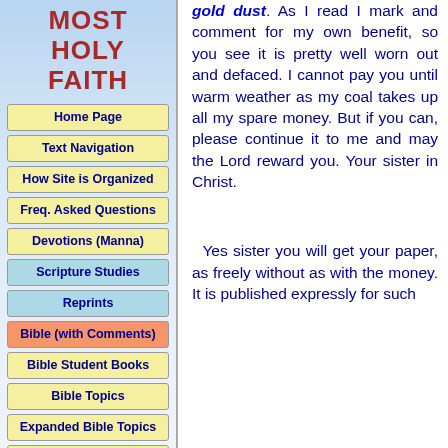MOST HOLY FAITH
Home Page
Text Navigation
How Site is Organized
Freq. Asked Questions
Devotions (Manna)
Scripture Studies
Reprints
Bible (with Comments)
Bible Student Books
Bible Topics
Expanded Bible Topics
Bible Student Webs
Miscellaneous
gold dust. As I read I mark and comment for my own benefit, so you see it is pretty well worn out and defaced. I cannot pay you until warm weather as my coal takes up all my spare money. But if you can, please continue it to me and may the Lord reward you. Your sister in Christ.
Yes sister you will get your paper, as freely without as with the money. It is published expressly for such